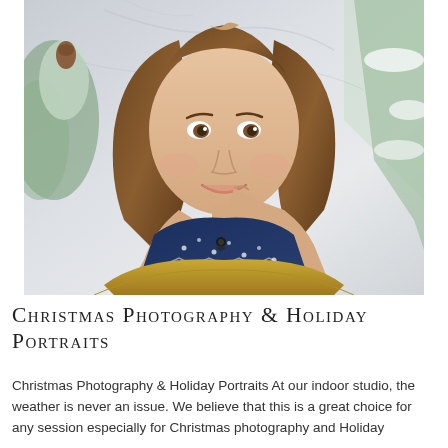[Figure (photo): Portrait photo of a young girl with long brown hair, wearing a navy blue patterned sweater and a golden yellow tutu skirt, posed with her chin resting on her hand, smiling at the camera. Background features snow-covered evergreen trees and a grey/white marbled backdrop — a Christmas holiday portrait studio setting.]
Christmas Photography & Holiday Portraits
Christmas Photography & Holiday Portraits At our indoor studio, the weather is never an issue. We believe that this is a great choice for any session especially for Christmas photography and Holiday